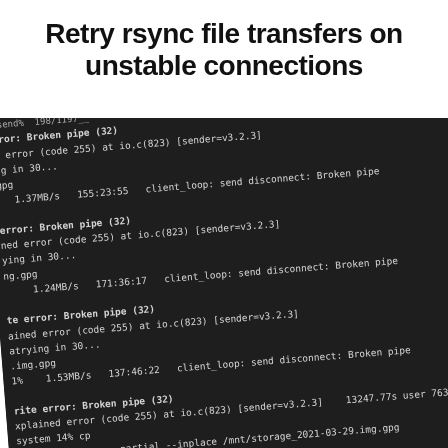Retry rsync file transfers on unstable connections
[Figure (screenshot): A terminal screenshot (tilted/rotated) showing repeated rsync error messages: 'Broken pipe (32)', 'error (code 255) at io.c(823) [sender=v3.2.3]', retrying in 30 seconds, with transfer speeds and timestamps, and a retry rsync command shown at the bottom.]